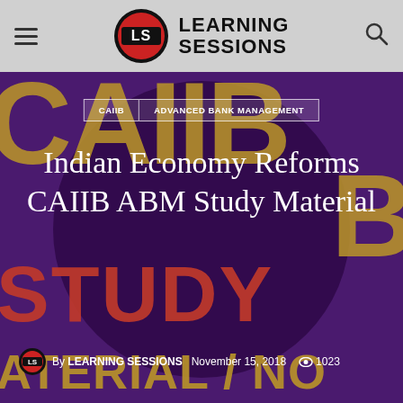Learning Sessions — navigation header with hamburger menu, logo, and search icon
[Figure (screenshot): CAIIB study material hero banner with purple background, large decorative CAIIB text in gold, dark circle graphic, STUDY text in red, and MATERIAL/NOTES text in gold at bottom]
CAIIB  ADVANCED BANK MANAGEMENT
Indian Economy Reforms CAIIB ABM Study Material
By LEARNING SESSIONS  November 15, 2018  1023